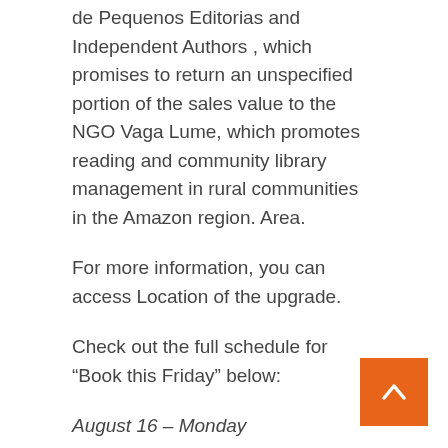de Pequenos Editorias and Independent Authors , which promises to return an unspecified portion of the sales value to the NGO Vaga Lume, which promotes reading and community library management in rural communities in the Amazon region. Area.
For more information, you can access Location of the upgrade.
Check out the full schedule for “Book this Friday” below:
August 16 – Monday
12:00 – Isabel Sintra, Lorena Pimenta and Olivia Pilar – Ancestry and Our History
7 p.m. – Jenna Evans Welch – Love and Things
August 17 – Tuesday